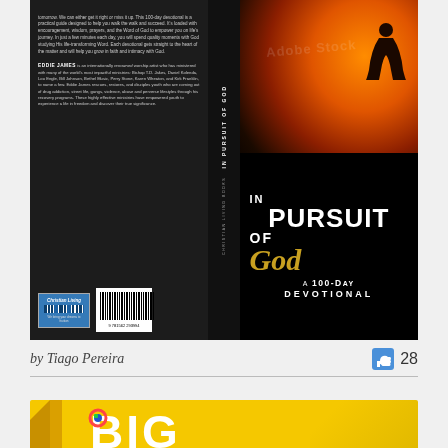[Figure (photo): Book cover for 'In Pursuit of God: A 100-Day Devotional' by Eddie James. Shows back cover with descriptive text and Christian Living Books badge, spine, and front cover with dramatic sunset silhouette and gold/white typography on black background.]
by Tiago Pereira
[Figure (photo): Partial view of a book cover with yellow background and large white 'BIG' text with colorful logo element.]